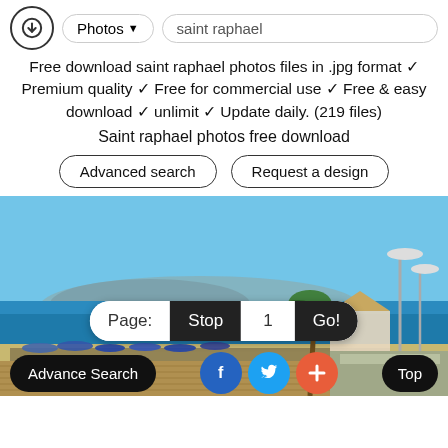Photos ▾  saint raphael
Free download saint raphael photos files in .jpg format ✓ Premium quality ✓ Free for commercial use ✓ Free & easy download ✓ unlimit ✓ Update daily. (219 files)
Saint raphael photos free download
Advanced search  |  Request a design
[Figure (photo): Beach photo of Saint-Raphaël, France showing blue sea, beach umbrellas, palm trees, a carousel/bandstand, street lamps, and mountains in the background under a clear blue sky.]
Page:  Stop  1  Go!
Advance Search  [Facebook] [Twitter] [+] Top